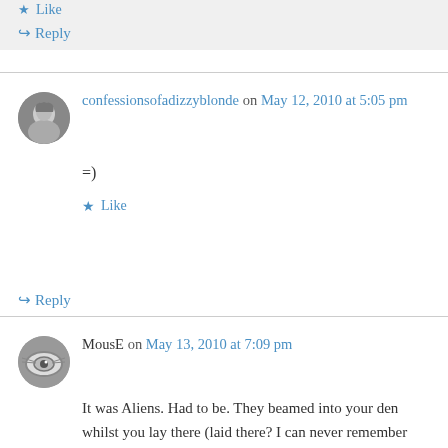Reply (top, in gray block)
confessionsofadizzyblonde on May 12, 2010 at 5:05 pm
=)
Like
Reply
MousE on May 13, 2010 at 7:09 pm
It was Aliens. Had to be. They beamed into your den whilst you lay there (laid there? I can never remember this grammatical rule) and….